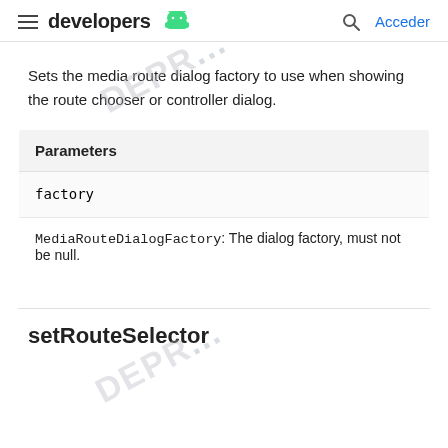developers  Acceder
Sets the media route dialog factory to use when showing the route chooser or controller dialog.
| Parameters |
| --- |
| factory |
| MediaRouteDialogFactory: The dialog factory, must not be null. |
setRouteSelector